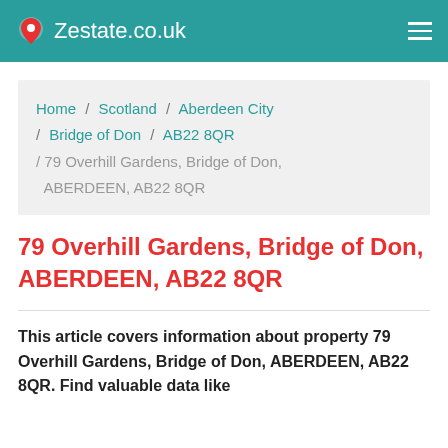Zestate.co.uk
Home / Scotland / Aberdeen City / Bridge of Don / AB22 8QR / 79 Overhill Gardens, Bridge of Don, ABERDEEN, AB22 8QR
79 Overhill Gardens, Bridge of Don, ABERDEEN, AB22 8QR
This article covers information about property 79 Overhill Gardens, Bridge of Don, ABERDEEN, AB22 8QR. Find valuable data like